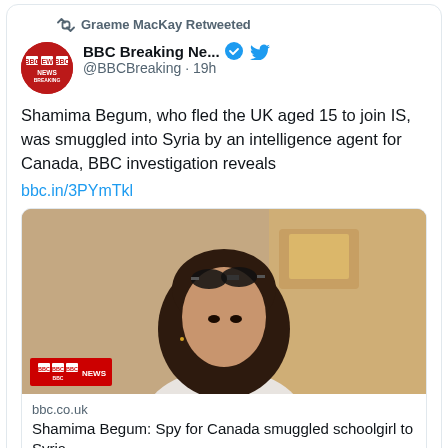Graeme MacKay Retweeted
BBC Breaking Ne... @BBCBreaking · 19h
Shamima Begum, who fled the UK aged 15 to join IS, was smuggled into Syria by an intelligence agent for Canada, BBC investigation reveals
bbc.in/3PYmTkl
[Figure (photo): Photo of Shamima Begum with sunglasses on her head, with BBC News logo overlay in bottom left]
bbc.co.uk
Shamima Begum: Spy for Canada smuggled schoolgirl to Syria